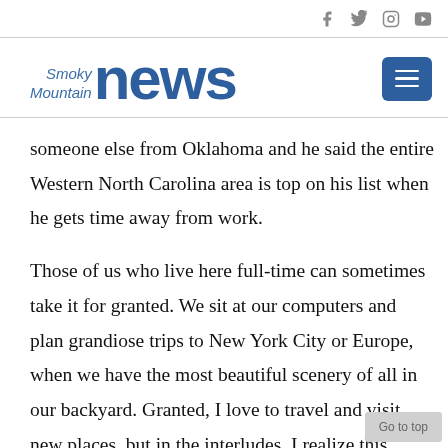[social icons: Facebook, Twitter, Instagram, YouTube]
[Figure (logo): Smoky Mountain News logo with menu button]
someone else from Oklahoma and he said the entire Western North Carolina area is top on his list when he gets time away from work.
Those of us who live here full-time can sometimes take it for granted. We sit at our computers and plan grandiose trips to New York City or Europe, when we have the most beautiful scenery of all in our backyard. Granted, I love to travel and visit new places, but in the interludes, I realize this beautiful place I call home is a panacea all its own.